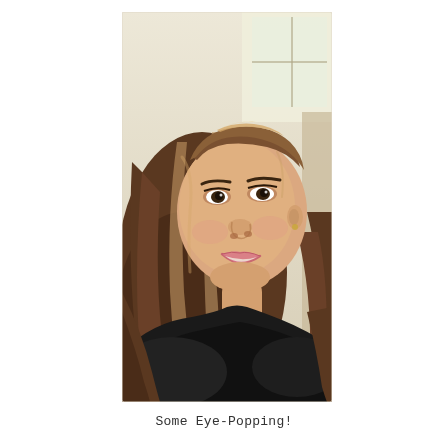[Figure (photo): A selfie photo of a smiling young woman with long brown highlighted hair, light skin, wearing a dark top, taken indoors with a bright background.]
Some Eye-Popping!